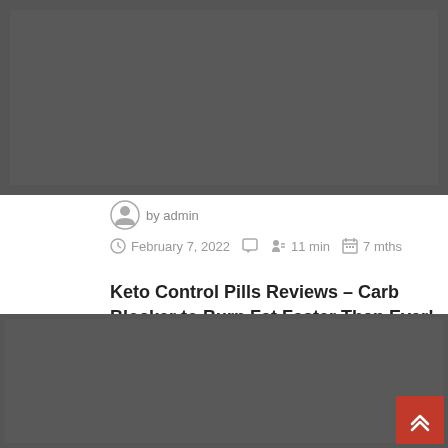[Figure (photo): Top banner image placeholder, dark gray rectangle]
by admin
February 7, 2022   11 min   7 mths
Keto Control Pills Reviews – Carb Blocker to Burn Fat Faster Than Ever!
[Figure (photo): Bottom article image placeholder, dark gray rectangle]